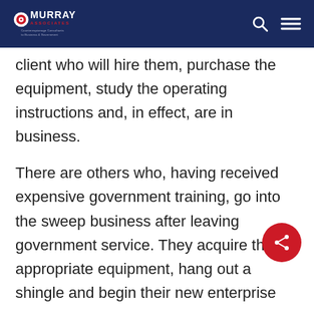Murray Associates — Counterespionage Consultants to Business & Government
client who will hire them, purchase the equipment, study the operating instructions and, in effect, are in business.
There are others who, having received expensive government training, go into the sweep business after leaving government service. They acquire the appropriate equipment, hang out a shingle and begin their new enterprise